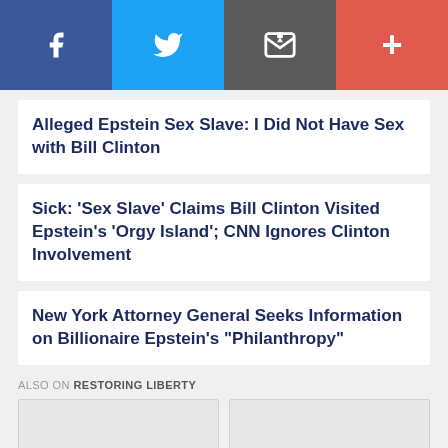[Figure (other): Social sharing bar with Facebook, Twitter, Email, and Plus buttons]
Alleged Epstein Sex Slave: I Did Not Have Sex with Bill Clinton
Sick: ‘Sex Slave’ Claims Bill Clinton Visited Epstein’s ‘Orgy Island’; CNN Ignores Clinton Involvement
New York Attorney General Seeks Information on Billionaire Epstein’s “Philanthropy”
ALSO ON RESTORING LIBERTY